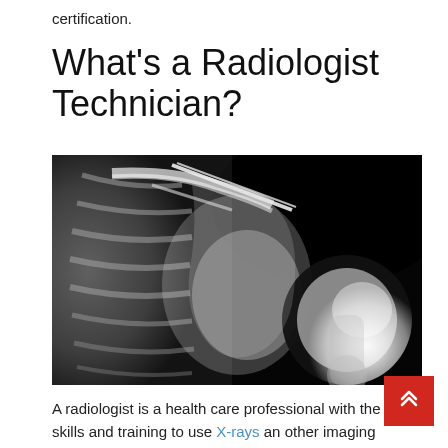certification.
What's a Radiologist Technician?
[Figure (photo): Black and white X-ray image of a human shoulder joint showing bones and surrounding anatomy]
A radiologist is a health care professional with the skills and training to use X-rays and other imaging technologies to help diagnose and treat conditions. Radiologists also help